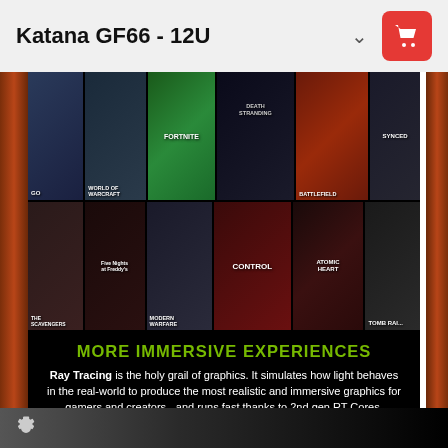Katana GF66 - 12U
[Figure (screenshot): Grid of video game thumbnail covers including Fortnite, Death Stranding, Battlefield, Synced, Five Nights at Freddy's, Call of Duty: Modern Warfare, Control, Atomic Heart, Tomb Raider, and others]
MORE IMMERSIVE EXPERIENCES
Ray Tracing is the holy grail of graphics. It simulates how light behaves in the real-world to produce the most realistic and immersive graphics for gamers and creators - and runs fast thanks to 2nd gen RT Cores.